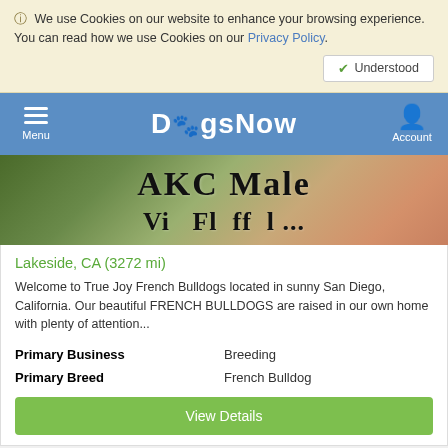We use Cookies on our website to enhance your browsing experience. You can read how we use Cookies on our Privacy Policy.
Understood
[Figure (screenshot): DogsNow website navigation bar with hamburger menu, DogsNow logo with paw print, and Account icon]
[Figure (photo): Photo of a French Bulldog with text overlay reading AKC Male and partially visible text below]
Lakeside, CA (3272 mi)
Welcome to True Joy French Bulldogs located in sunny San Diego, California. Our beautiful FRENCH BULLDOGS are raised in our own home with plenty of attention...
| Primary Business | Breeding |
| Primary Breed | French Bulldog |
View Details